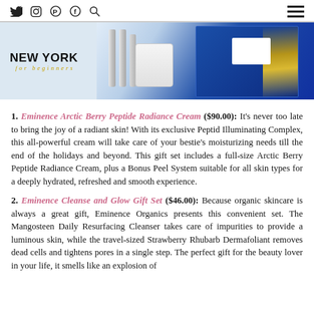Social media icons (Twitter, Instagram, Pinterest, Facebook, Search) and hamburger menu
[Figure (photo): Product photo showing mascara/brow tubes on left and a blue gift box set with gold ribbon on the right. New York for Beginners logo on left side.]
1. Eminence Arctic Berry Peptide Radiance Cream ($90.00): It's never too late to bring the joy of a radiant skin! With its exclusive Peptid Illuminating Complex, this all-powerful cream will take care of your bestie's moisturizing needs till the end of the holidays and beyond. This gift set includes a full-size Arctic Berry Peptide Radiance Cream, plus a Bonus Peel System suitable for all skin types for a deeply hydrated, refreshed and smooth experience.
2. Eminence Cleanse and Glow Gift Set ($46.00): Because organic skincare is always a great gift, Eminence Organics presents this convenient set. The Mangosteen Daily Resurfacing Cleanser takes care of impurities to provide a luminous skin, while the travel-sized Strawberry Rhubarb Dermafoliant removes dead cells and tightens pores in a single step. The perfect gift for the beauty lover in your life, it smells like an explosion of